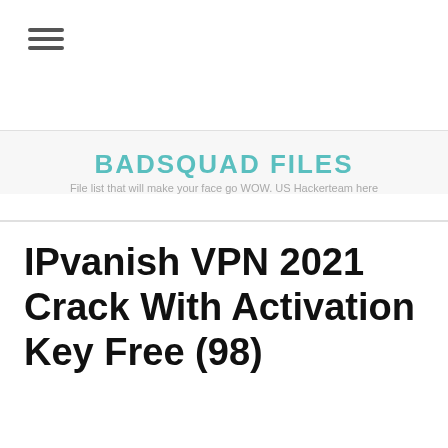≡
BADSQUAD FILES
File list that will make your face go WOW. US Hackerteam here
IPvanish VPN 2021 Crack With Activation Key Free (98)